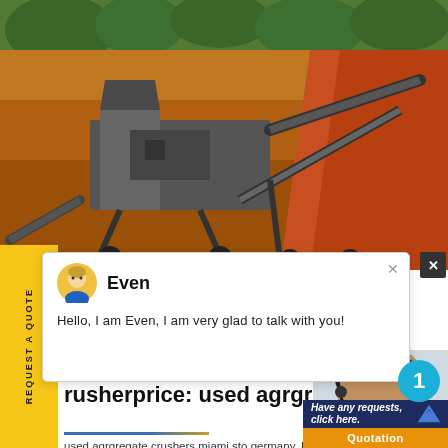[Figure (photo): Outdoor mining site with large industrial crusher/conveyor machinery on orange/red earthen ground with green trees in background]
[Figure (screenshot): Chat popup with avatar of customer service agent 'Even' and message: Hello, I am Even, I am very glad to talk with you!]
rusherprice: used agrgregate crushers miami
used agrgregate crushers miami sto germany. Rock crusher plants,quarry stone crusher in Germany Double ed old
[Figure (photo): Customer service representative smiling with headset; circular notification badge with number 1]
Have any requests, click here.
Quotation